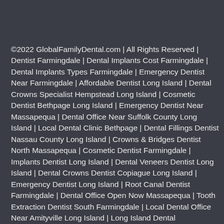©2022 GlobalFamilyDental.com | All Rights Reserved | Dentist Farmingdale | Dental Implants Cost Farmingdale | Dental Implants Types Farmingdale | Emergency Dentist Near Farmingdale | Affordable Dentist Long Island | Dental Crowns Specialist Hempstead Long Island | Cosmetic Dentist Bethpage Long Island | Emergency Dentist Near Massapequa | Dental Office Near Suffolk County Long Island | Local Dental Clinic Bethpage | Dental Fillings Dentist Nassau County Long Island | Crowns & Bridges Dentist North Massapequa | Cosmetic Dentist Farmingdale | Implants Dentist Long Island | Dental Veneers Dentist Long Island | Dental Crowns Dentist Copiague Long Island | Emergency Dentist Long Island | Root Canal Dentist Farmingdale | Dental Office Open Now Massapequa | Tooth Extraction Dentist South Farmingdale | Local Dental Office Near Amityville Long Island | Long Island Dental